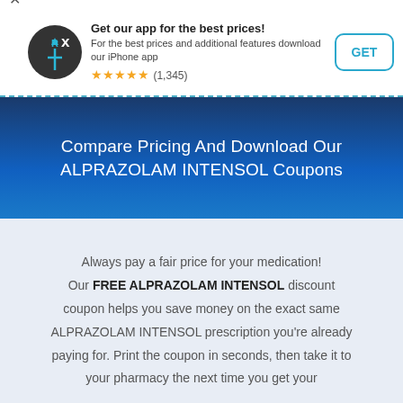[Figure (screenshot): App download banner with RxSaver logo icon, app title 'Get our app for the best prices!', description text, star rating (1,345), and a GET button]
Compare Pricing And Download Our ALPRAZOLAM INTENSOL Coupons
Always pay a fair price for your medication! Our FREE ALPRAZOLAM INTENSOL discount coupon helps you save money on the exact same ALPRAZOLAM INTENSOL prescription you're already paying for. Print the coupon in seconds, then take it to your pharmacy the next time you get your